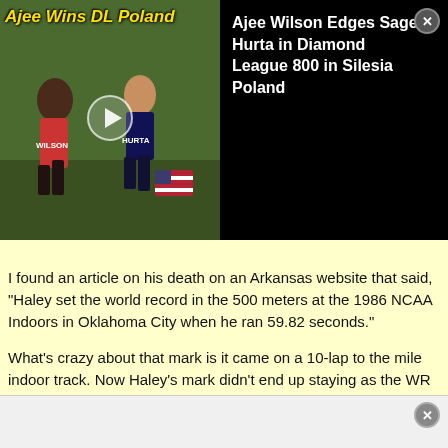[Figure (screenshot): Video thumbnail showing runners in a race, with yellow bold italic overlay text 'Ajee Wins DL Poland' and a play button in the center. Runner names WILSON and HURTA visible on bibs.]
Ajee Wilson Edges Sage Hurta in Diamond League 800 in Silesia Poland
I found an article on his death on an Arkansas website that said, "Haley set the world record in the 500 meters at the 1986 NCAA Indoors in Oklahoma City when he ran 59.82 seconds."

What's crazy about that mark is it came on a 10-lap to the mile indoor track. Now Haley's mark didn't end up staying as the WR as the OKC track ended up being like 25 inches per lap too short and some of the staggers were off as well. But that's crazy as the current indoor WR is 59.83. There is a good LRC thread on the controversy here: